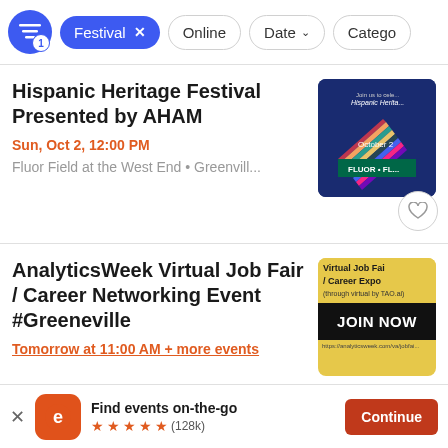Festival × | Online | Date ▾ | Catego...
Hispanic Heritage Festival Presented by AHAM
Sun, Oct 2, 12:00 PM
Fluor Field at the West End • Greenvill...
[Figure (photo): Event promotional image for Hispanic Heritage Festival with flags on dark blue background, text: Join us to celebrate Hispanic Heritage, October 2, Fluor Field]
AnalyticsWeek Virtual Job Fair / Career Networking Event #Greeneville
Tomorrow at 11:00 AM + more events
[Figure (photo): Virtual Job Fair / Career Expo promotional image with yellow background and black JOIN NOW button]
Find events on-the-go ★★★★★ (128k)
Continue